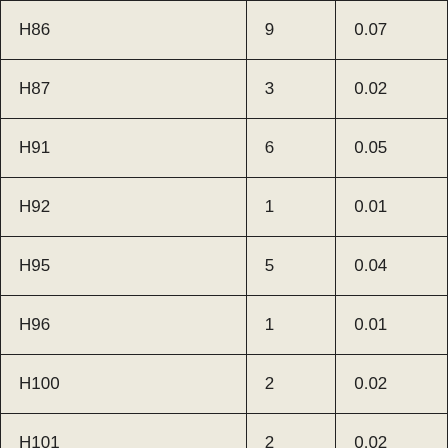| H86 | 9 | 0.07 |
| H87 | 3 | 0.02 |
| H91 | 6 | 0.05 |
| H92 | 1 | 0.01 |
| H95 | 5 | 0.04 |
| H96 | 1 | 0.01 |
| H100 | 2 | 0.02 |
| H101 | 2 | 0.02 |
| H102 | 2 | 0.02 |
| H103 | 1 | 0.01 |
| H104 | 3 | 0.03 |